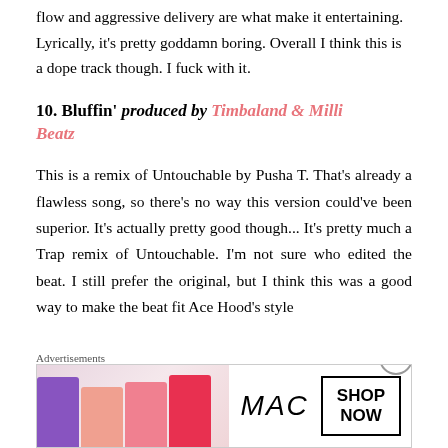flow and aggressive delivery are what make it entertaining. Lyrically, it's pretty goddamn boring. Overall I think this is a dope track though. I fuck with it.
10. Bluffin' produced by Timbaland & Milli Beatz
This is a remix of Untouchable by Pusha T. That's already a flawless song, so there's no way this version could've been superior. It's actually pretty good though... It's pretty much a Trap remix of Untouchable. I'm not sure who edited the beat. I still prefer the original, but I think this was a good way to make the beat fit Ace Hood's style
[Figure (advertisement): MAC cosmetics advertisement banner showing colorful lipsticks with 'MAC' brand name and 'SHOP NOW' button]